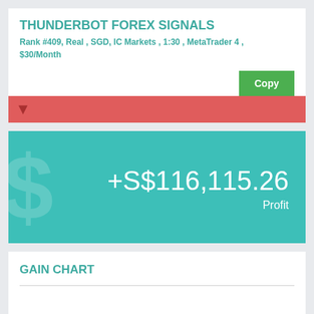THUNDERBOT FOREX SIGNALS
Rank #409, Real , SGD, IC Markets , 1:30 , MetaTrader 4 , $30/Month
+S$116,115.26 Profit
GAIN CHART